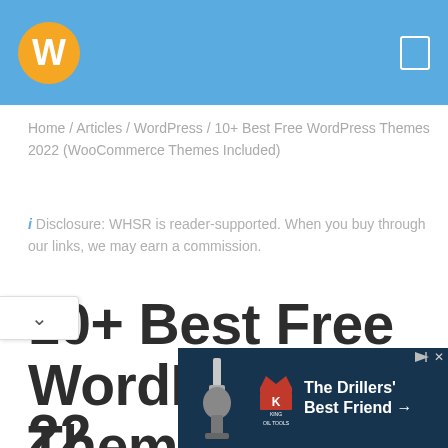W [logo] [menu icon]
Home / Articles / WordPress / 10+ Best Free WordPress Themes 2022 (WooCommerce Themes Included)
i Disclosure: WHSR is reader-supported. When you buy through our links, we may earn a commission.
10+ Best Free WordPress Themes 2022
[Figure (other): Advertisement banner: King Oil Tools - The Drillers' Best Friend with arrow, on dark blue background with drilling equipment imagery]